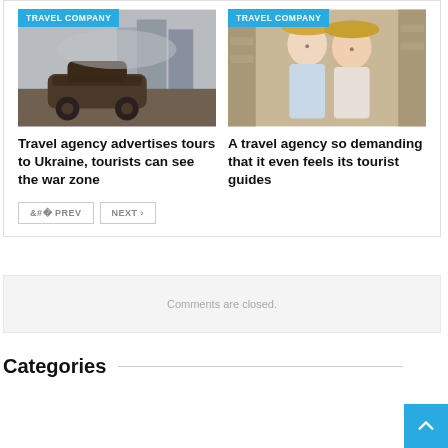[Figure (photo): Burned/destroyed car in a war zone with high-rise buildings in background]
TRAVEL COMPANY
Travel agency advertises tours to Ukraine, tourists can see the war zone
[Figure (photo): Two women smiling in hats at a travel destination, standing in front of stone columns]
TRAVEL COMPANY
A travel agency so demanding that it even feels its tourist guides
< PREV
NEXT >
Comments are closed.
Categories